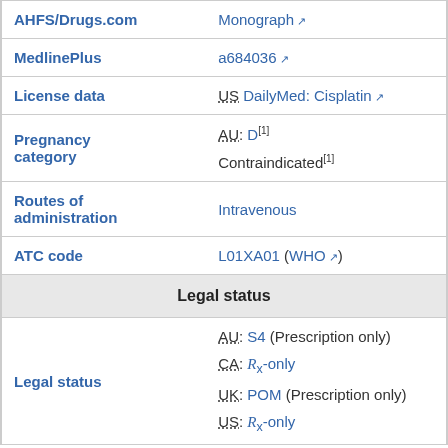| Field | Value |
| --- | --- |
| AHFS/Drugs.com | Monograph [external] |
| MedlinePlus | a684036 [external] |
| License data | US DailyMed: Cisplatin [external] |
| Pregnancy category | AU: D[1]
Contraindicated[1] |
| Routes of administration | Intravenous |
| ATC code | L01XA01 (WHO [external]) |
| Legal status (header) |  |
| Legal status | AU: S4 (Prescription only)
CA: Rx-only
UK: POM (Prescription only)
US: Rx-only |